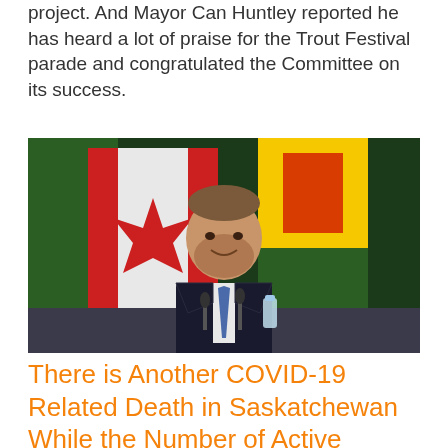project. And Mayor Can Huntley reported he has heard a lot of praise for the Trout Festival parade and congratulated the Committee on its success.
[Figure (photo): A man in a dark suit and tie sitting at a podium/table with microphones, smiling, with Canadian and Saskatchewan flags visible in the background.]
There is Another COVID-19 Related Death in Saskatchewan While the Number of Active Cases